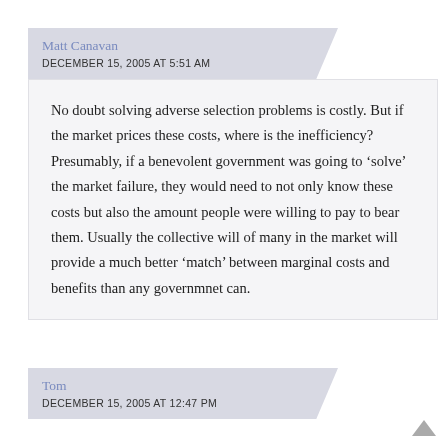Matt Canavan
DECEMBER 15, 2005 AT 5:51 AM
No doubt solving adverse selection problems is costly. But if the market prices these costs, where is the inefficiency? Presumably, if a benevolent government was going to ‘solve’ the market failure, they would need to not only know these costs but also the amount people were willing to pay to bear them. Usually the collective will of many in the market will provide a much better ‘match’ between marginal costs and benefits than any governmnet can.
Tom
DECEMBER 15, 2005 AT 12:47 PM